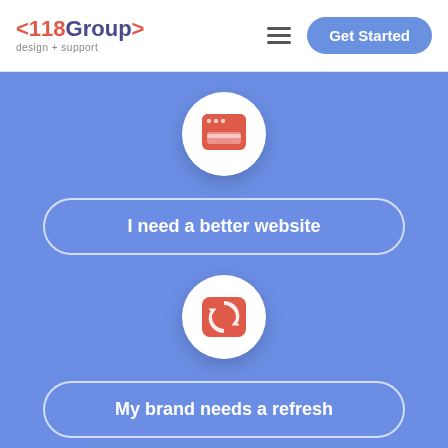[Figure (logo): 118Group logo with angle bracket decorators and tagline 'design + support']
[Figure (illustration): Hamburger menu icon (three horizontal lines)]
Get Started
[Figure (illustration): Red/orange rounded square icon with a browser window graphic inside a white circle]
I need a better website
[Figure (illustration): Red/orange rounded square icon with a circular refresh/sync arrow graphic inside a white circle]
My brand needs a refresh